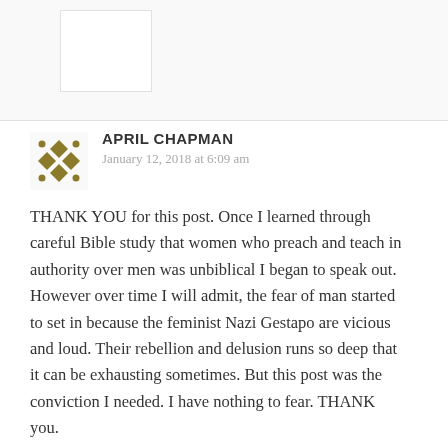APRIL CHAPMAN
January 12, 2018 at 6:09 am
THANK YOU for this post. Once I learned through careful Bible study that women who preach and teach in authority over men was unbiblical I began to speak out. However over time I will admit, the fear of man started to set in because the feminist Nazi Gestapo are vicious and loud. Their rebellion and delusion runs so deep that it can be exhausting sometimes. But this post was the conviction I needed. I have nothing to fear. THANK you.